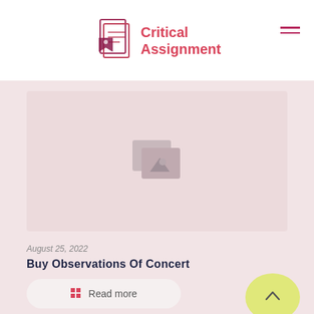Critical Assignment
[Figure (illustration): Image placeholder with a grey photo icon on a light pink background]
August 25, 2022
Buy Observations Of Concert
Read more
Leave a Reply